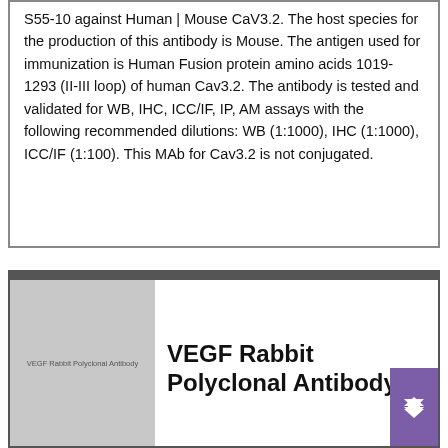S55-10 against Human | Mouse CaV3.2. The host species for the production of this antibody is Mouse. The antigen used for immunization is Human Fusion protein amino acids 1019-1293 (II-III loop) of human Cav3.2. The antibody is tested and validated for WB, IHC, ICC/IF, IP, AM assays with the following recommended dilutions: WB (1:1000), IHC (1:1000), ICC/IF (1:100). This MAb for Cav3.2 is not conjugated.
[Figure (photo): Placeholder image area for VEGF Rabbit Polyclonal Antibody product, shown as grey rectangle with small label text]
VEGF Rabbit Polyclonal Antibody